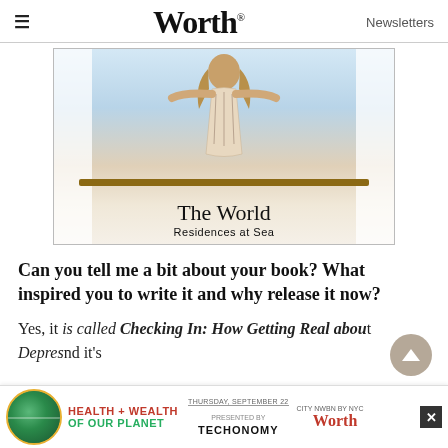Worth — Newsletters
[Figure (photo): Advertisement for 'The World – Residences at Sea': a woman in a patterned dress standing with arms outstretched opening white curtains to a ocean/sky view, with text 'The World Residences at Sea']
Can you tell me a bit about your book? What inspired you to write it and why release it now?
Yes, it is called Checking In: How Getting Real about Depres... nd it's
[Figure (infographic): Bottom banner ad: Health + Wealth of Our Planet event, Techonomy, presented by Worth, with city sponsor, Thursday date, and close button]